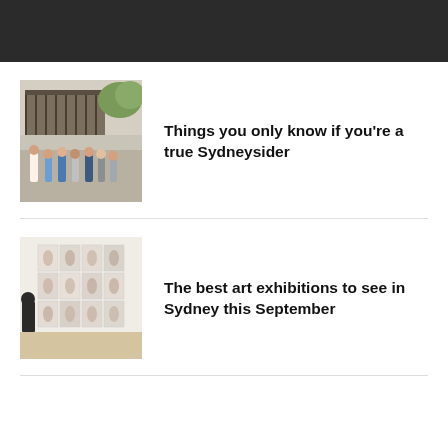[Figure (other): Dark top navigation bar]
[Figure (photo): People gathered outside a building with balcony in Sydney]
Things you only know if you're a true Sydneysider
[Figure (photo): Person viewing large photographic artworks on gallery wall]
The best art exhibitions to see in Sydney this September